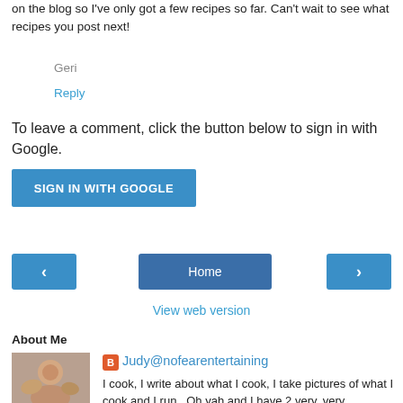on the blog so I've only got a few recipes so far. Can't wait to see what recipes you post next!
Geri
Reply
To leave a comment, click the button below to sign in with Google.
SIGN IN WITH GOOGLE
‹
Home
›
View web version
About Me
[Figure (photo): Profile photo of a woman with a dog]
Judy@nofearentertaining
I cook, I write about what I cook, I take pictures of what I cook and I run...Oh yah and I have 2 very, very